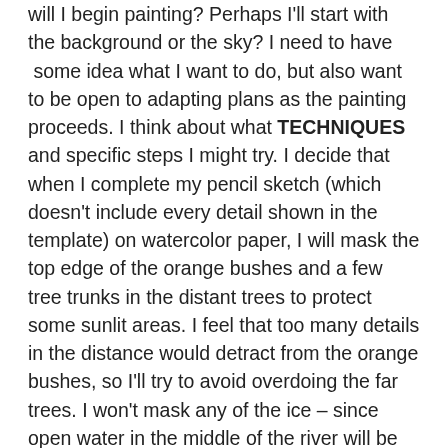will I begin painting? Perhaps I'll start with the background or the sky? I need to have some idea what I want to do, but also want to be open to adapting plans as the painting proceeds. I think about what TECHNIQUES and specific steps I might try. I decide that when I complete my pencil sketch (which doesn't include every detail shown in the template) on watercolor paper, I will mask the top edge of the orange bushes and a few tree trunks in the distant trees to protect some sunlit areas. I feel that too many details in the distance would detract from the orange bushes, so I'll try to avoid overdoing the far trees. I won't mask any of the ice – since open water in the middle of the river will be painted wet-in-wet, while darker hard ice in the foreground will be painted around the lighter ice areas.